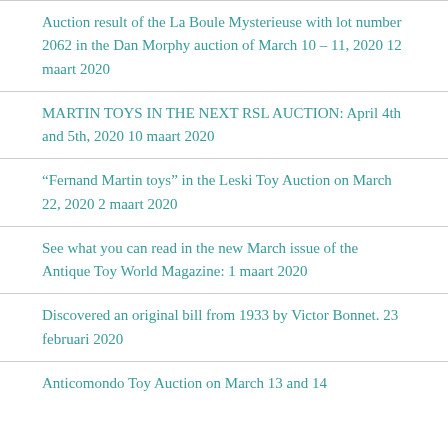Auction result of the La Boule Mysterieuse with lot number 2062 in the Dan Morphy auction of March 10 – 11, 2020 12 maart 2020
MARTIN TOYS IN THE NEXT RSL AUCTION: April 4th and 5th, 2020 10 maart 2020
“Fernand Martin toys” in the Leski Toy Auction on March 22, 2020 2 maart 2020
See what you can read in the new March issue of the Antique Toy World Magazine: 1 maart 2020
Discovered an original bill from 1933 by Victor Bonnet. 23 februari 2020
Anticomondo Toy Auction on March 13 and 14